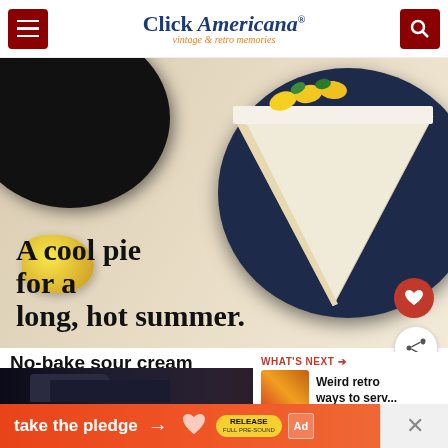Click Americana® vintage & retro memories
[Figure (photo): Vintage advertisement photo showing a slice of lemon cream pie on a dark plate with lemons, and bold text reading 'A cool pie for a long, hot summer.']
No-bake sour cream lemon pie recipe from 1962
[Figure (photo): Thumbnail image for 'What's Next' - Weird retro ways to serv...]
[Figure (photo): Bottom strip photo showing vintage cars on a street]
[Figure (infographic): Ad banner: 'take the pledge' with arrow, Release branding, and close button]